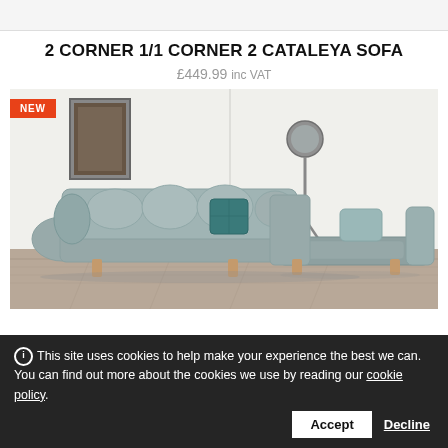2 CORNER 1/1 CORNER 2 CATALEYA SOFA
£449.99 inc VAT
[Figure (photo): Light teal/grey fabric corner sofa (L-shape) with tufted back cushions, accent teal pillow, wooden legs, in a white room with a tripod lamp and a framed picture. Orange 'NEW' badge in top-left corner.]
This site uses cookies to help make your experience the best we can. You can find out more about the cookies we use by reading our cookie policy. Accept Decline